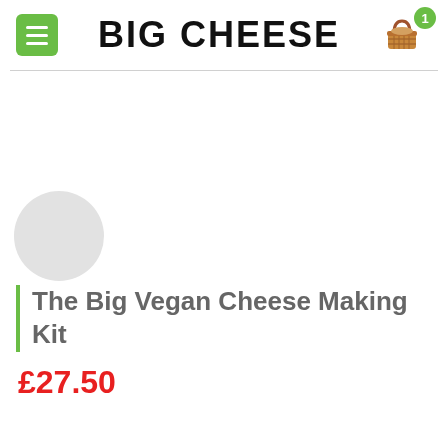BIG CHEESE
[Figure (screenshot): Product listing page for 'The Big Vegan Cheese Making Kit' at £27.50 on a website called BIG CHEESE. Header shows hamburger menu icon, site title, and basket icon with badge showing 1 item. Product image area is mostly blank with a partial placeholder circle. Product title has a green left border accent.]
The Big Vegan Cheese Making Kit
£27.50